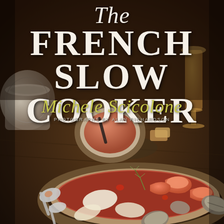[Figure (photo): Book cover photo showing a bowl of French bouillabaisse seafood stew with shrimp, clams, and fish in tomato broth, garnished with dill. Behind it is a smaller bowl of reddish sauce with a dark spoon, pieces of bread, and a wine glass with amber liquid. A slow cooker is visible on the left. Silver spoons are in the lower left. Background is a dark wooden table. The overall color palette is warm brown and amber tones.]
The French Slow Cooker
Michele Scicolone
PHOTOGRAPHS BY ALAN RICHARDSON